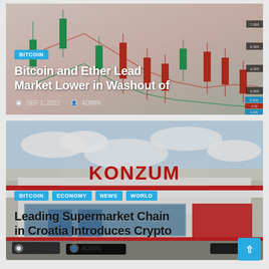[Figure (photo): Candlestick chart showing Bitcoin/Ether price action with red and green candles, trending line overlays, on a light pink/green background]
BITCOIN
Bitcoin and Ether Lead Market Lower in Washout of
SEP 1, 2022 ADMIN
[Figure (photo): Photo of a Konzum supermarket building exterior with large red KONZUM sign, blue sky with clouds, cars in parking lot]
BITCOIN ECONOMY NEWS WORLD
Leading Supermarket Chain in Croatia Introduces Crypto
SEP 1, 2022 ADMIN